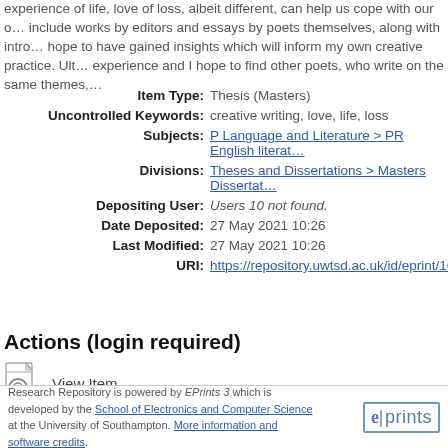experience of life, love of loss, albeit different, can help us cope with our own include works by editors and essays by poets themselves, along with intro hope to have gained insights which will inform my own creative practice. Ult experience and I hope to find other poets, who write on the same themes,
| Item Type: | Thesis (Masters) |
| Uncontrolled Keywords: | creative writing, love, life, loss |
| Subjects: | P Language and Literature > PR English literat… |
| Divisions: | Theses and Dissertations > Masters Dissertat… |
| Depositing User: | Users 10 not found. |
| Date Deposited: | 27 May 2021 10:26 |
| Last Modified: | 27 May 2021 10:26 |
| URI: | https://repository.uwtsd.ac.uk/id/eprint/1666 |
Actions (login required)
View Item
Research Repository is powered by EPrints 3 which is developed by the School of Electronics and Computer Science at the University of Southampton. More information and software credits.